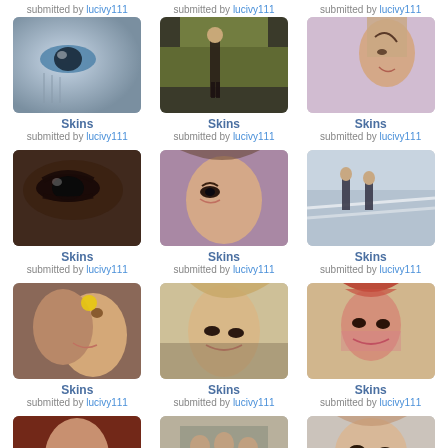submitted by lucivy111
submitted by lucivy111
submitted by lucivy111
[Figure (photo): Close-up of a person's eye with dramatic makeup and tears]
[Figure (photo): Person standing in an outdoor garden/courtyard area]
[Figure (photo): Side profile of a young woman with blonde hair, lavender background]
Skins
submitted by lucivy111
Skins
submitted by lucivy111
Skins
submitted by lucivy111
[Figure (photo): Close-up of an eye with dark dramatic makeup]
[Figure (photo): Close-up of a young woman looking sideways with pink/purple tones]
[Figure (photo): Two people walking on a road or bridge]
Skins
submitted by lucivy111
Skins
submitted by lucivy111
Skins
submitted by lucivy111
[Figure (photo): Two people embracing, one with a yellow flower in hair]
[Figure (photo): Blonde woman looking down with soft lighting]
[Figure (photo): Woman with red hair in a red shirt]
Skins
submitted by lucivy111
Skins
submitted by lucivy111
Skins
submitted by lucivy111
[Figure (photo): Young man looking at camera with dramatic red tones]
[Figure (photo): Group of people on a bridge or structure]
[Figure (photo): Young woman looking up with soft lighting]
Skins
Skins
Skins